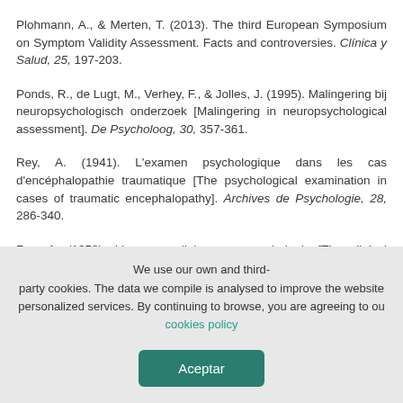Plohmann, A., & Merten, T. (2013). The third European Symposium on Symptom Validity Assessment. Facts and controversies. Clínica y Salud, 25, 197-203.
Ponds, R., de Lugt, M., Verhey, F., & Jolles, J. (1995). Malingering bij neuropsychologisch onderzoek [Malingering in neuropsychological assessment]. De Psycholoog, 30, 357-361.
Rey, A. (1941). L'examen psychologique dans les cas d'encéphalopathie traumatique [The psychological examination in cases of traumatic encephalopathy]. Archives de Psychologie, 28, 286-340.
Rey, A. (1958). L'examen clinique en psychologie [The clinical examination
We use our own and third-party cookies. The data we compile is analysed to improve the website personalized services. By continuing to browse, you are agreeing to our cookies policy